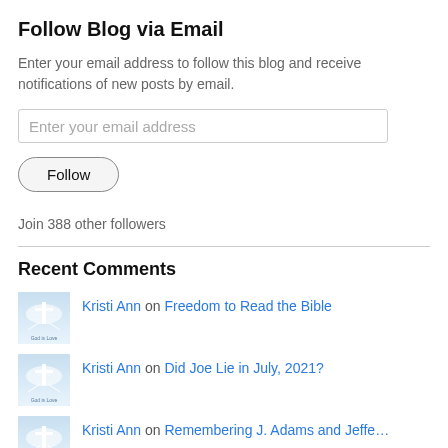Follow Blog via Email
Enter your email address to follow this blog and receive notifications of new posts by email.
Enter your email address
Follow
Join 388 other followers
Recent Comments
Kristi Ann on Freedom to Read the Bible
Kristi Ann on Did Joe Lie in July, 2021?
Kristi Ann on Remembering J. Adams and Jeffe…